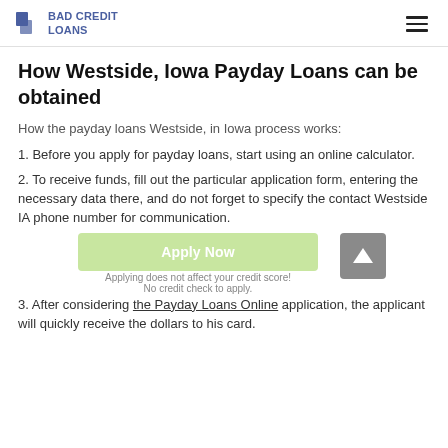BAD CREDIT LOANS
How Westside, Iowa Payday Loans can be obtained
How the payday loans Westside, in Iowa process works:
1. Before you apply for payday loans, start using an online calculator.
2. To receive funds, fill out the particular application form, entering the necessary data there, and do not forget to specify the contact Westside IA phone number for communication.
3. After considering the Payday Loans Online application, the applicant will quickly receive the dollars to his card.